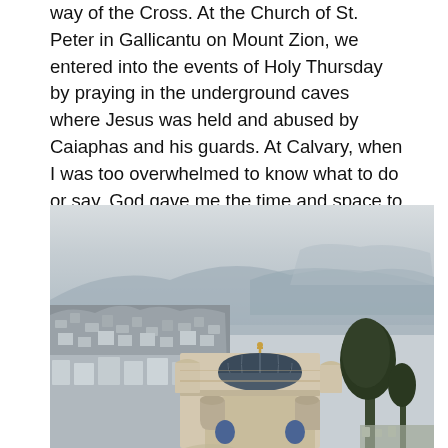way of the Cross. At the Church of St. Peter in Gallicantu on Mount Zion, we entered into the events of Holy Thursday by praying in the underground caves where Jesus was held and abused by Caiaphas and his guards. At Calvary, when I was too overwhelmed to know what to do or say, God gave me the time and space to sit and listen to Him. And now, each time I open my Bible or listen to the readings at Mass, my experience of Scripture has been transformed by the gift of my time in Israel.
[Figure (photo): Aerial view of Jerusalem showing a Byzantine-style church with blue domed roof and a golden cross on top, surrounded by stone buildings and hillside cityscape in the background with hazy mountains.]